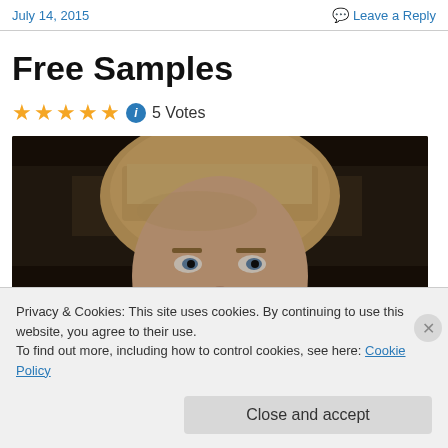July 14, 2015
Leave a Reply
Free Samples
★★★★★ ℹ 5 Votes
[Figure (photo): Close-up of a young blonde woman with bangs looking intensely at the camera in a dimly lit scene]
Privacy & Cookies: This site uses cookies. By continuing to use this website, you agree to their use.
To find out more, including how to control cookies, see here: Cookie Policy
Close and accept
Follow ...